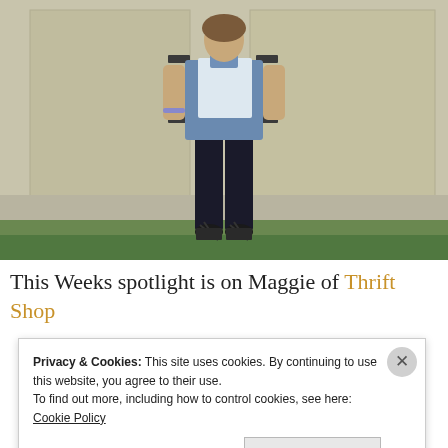[Figure (photo): A person wearing a blue chambray shirt, white vest/jacket, black pants, and black strappy wedge shoes, standing in front of beige painted fence/gate panels with gravel and grass visible at the bottom.]
This Weeks spotlight is on Maggie of Thrift Shop
Privacy & Cookies: This site uses cookies. By continuing to use this website, you agree to their use.
To find out more, including how to control cookies, see here: Cookie Policy
Close and accept